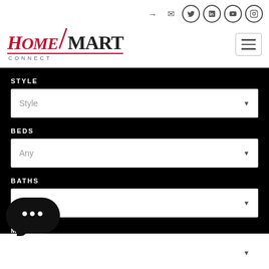[Figure (logo): HomeSmart Connect logo with red italic HOME text and black SMART text, with red underline and CONNECT subtitle]
STYLE
Style (dropdown)
BEDS
Any (dropdown)
BATHS
Any (dropdown)
MIN
(dropdown)